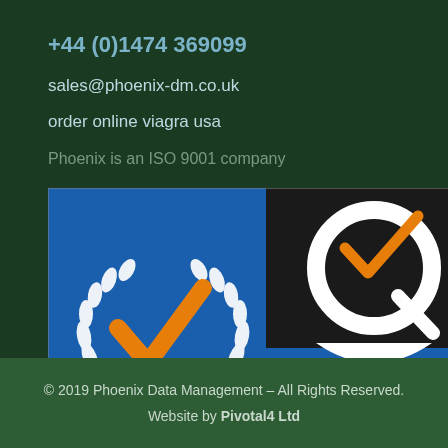+44 (0)1474 369099
sales@phoenix-dm.co.uk
order online viagra usa
Phoenix is an ISO 9001 company
[Figure (logo): QAS International ISO 9001:2015 Registered Company certification logo. Certificate No. CA16626. Blue and orange badge with white laurel wreath and checkmark on left, orange and black Q logo with checkmark on right.]
© 2019 Phoenix Data Management – All Rights Reserved.
Website by Pivotal4 Ltd